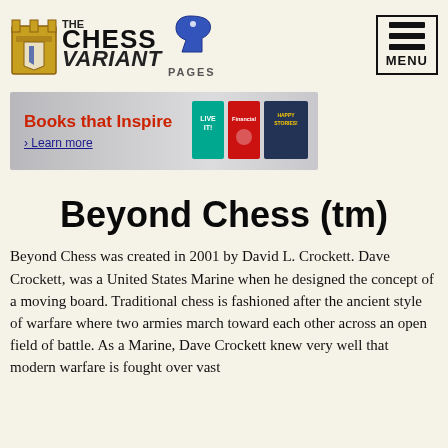[Figure (logo): The Chess Variant Pages logo with a rook and knight chess piece graphic and stylized text]
[Figure (other): Menu button with three horizontal bars and MENU text, inside a bordered box]
[Figure (other): Advertisement banner: Books that Inspire, Learn more link, with book covers on right side]
Beyond Chess (tm)
Beyond Chess was created in 2001 by David L. Crockett. Dave Crockett, was a United States Marine when he designed the concept of a moving board. Traditional chess is fashioned after the ancient style of warfare where two armies march toward each other across an open field of battle. As a Marine, Dave Crockett knew very well that modern warfare is fought over vast